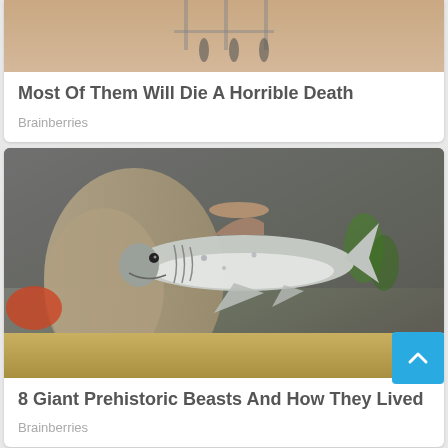[Figure (photo): Top portion of a card showing a partial image (cropped photo, sandy/warm tones with silhouettes of people) from a Brainberries article]
Most Of Them Will Die A Horrible Death
Brainberries
[Figure (photo): Photo of a prehistoric shark figurine/model displayed in a diorama with sandy base, driftwood, and green plants in background]
8 Giant Prehistoric Beasts And How They Lived
Brainberries